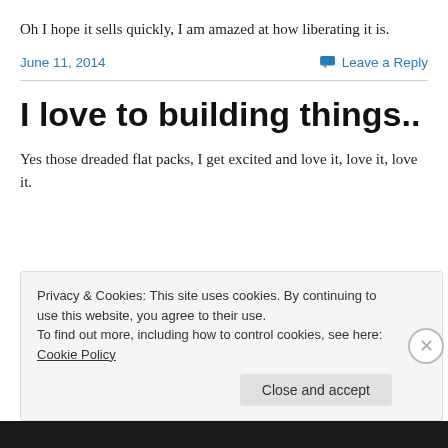Oh I hope it sells quickly, I am amazed at how liberating it is.
June 11, 2014   💬 Leave a Reply
I love to building things..
Yes those dreaded flat packs, I get excited and love it, love it, love it.
Privacy & Cookies: This site uses cookies. By continuing to use this website, you agree to their use.
To find out more, including how to control cookies, see here: Cookie Policy
Close and accept